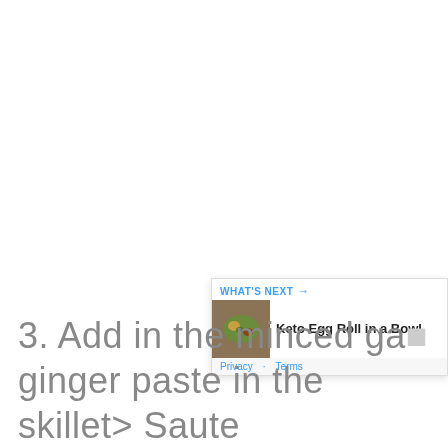3.  Add in the minced ga... ginger paste in the skillet> Saute
[Figure (screenshot): Social interaction panel with heart/like button showing count 202, and a share button]
[Figure (infographic): What's Next banner showing 'Keto Egg Roll in a Bowl' with food thumbnail image and Privacy-Terms footer]